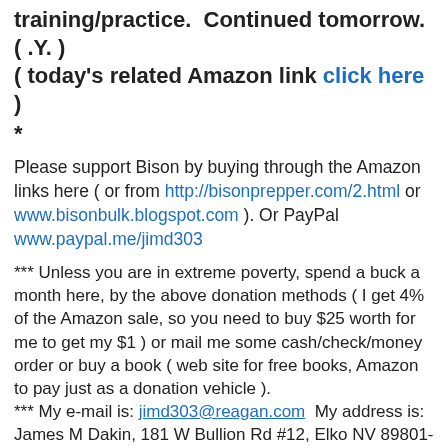training/practice.  Continued tomorrow.
( .Y. )
( today's related Amazon link click here )
*
Please support Bison by buying through the Amazon links here ( or from http://bisonprepper.com/2.html or www.bisonbulk.blogspot.com ). Or PayPal www.paypal.me/jimd303
*** Unless you are in extreme poverty, spend a buck a month here, by the above donation methods ( I get 4% of the Amazon sale, so you need to buy $25 worth for me to get my $1 ) or mail me some cash/check/money order or buy a book ( web site for free books, Amazon to pay just as a donation vehicle ).
*** My e-mail is: jimd303@reagan.com  My address is: James M Dakin, 181 W Bullion Rd #12, Elko NV 89801-4184
***E-Mail me if you want your name added to the weekly e-newsletter subscriber list.
*** Pay your author-no one works for free.  I'm nice enough to publish for barely above Mere Book Money, so do your part.*** junk land under a grand * Lord Bison* my bio &